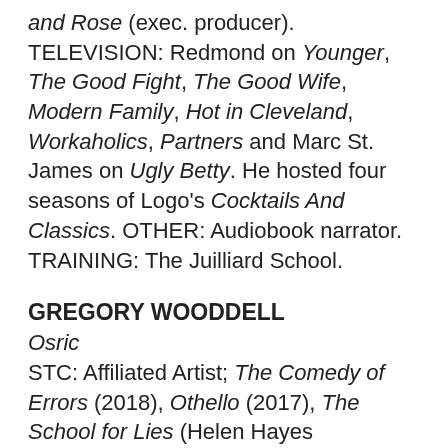and Rose (exec. producer). TELEVISION: Redmond on Younger, The Good Fight, The Good Wife, Modern Family, Hot in Cleveland, Workaholics, Partners and Marc St. James on Ugly Betty. He hosted four seasons of Logo's Cocktails And Classics. OTHER: Audiobook narrator. TRAINING: The Juilliard School.
GREGORY WOODDELL
Osric
STC: Affiliated Artist; The Comedy of Errors (2018), Othello (2017), The School for Lies (Helen Hayes nomination: Outstanding Lead Actor), Romeo and Juliet, As You Like It, The Importance of Being Earnest, An Ideal Husband, The Merchant of Venice, Cyrano, A